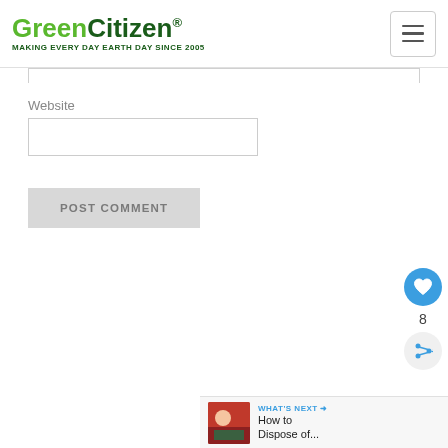GreenCitizen® MAKING EVERY DAY EARTH DAY SINCE 2005
Website
[Figure (screenshot): POST COMMENT button and Website input field on a GreenCitizen web page comment form]
[Figure (infographic): Heart/like button showing count 8, and share button on right sidebar]
[Figure (infographic): What's Next bar showing thumbnail and title 'How to Dispose of...']